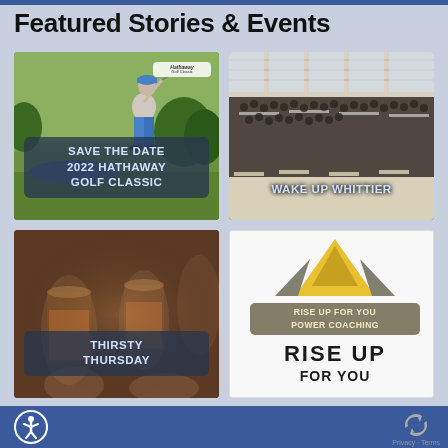Featured Stories & Events
[Figure (photo): Golf event photo with golfer swinging, overlay text: SAVE THE DATE 2022 HATHAWAY GOLF CLASSIC]
[Figure (photo): Crowded event hall photo with overlay text: WAKE UP WHITTIER]
[Figure (photo): Beer glasses clinking photo with overlay text: THIRSTY THURSDAY]
[Figure (logo): Rise Up For You logo with mountain graphic and text: RISE UP FOR YOU POWER COACHING, RISE UP FOR YOU]